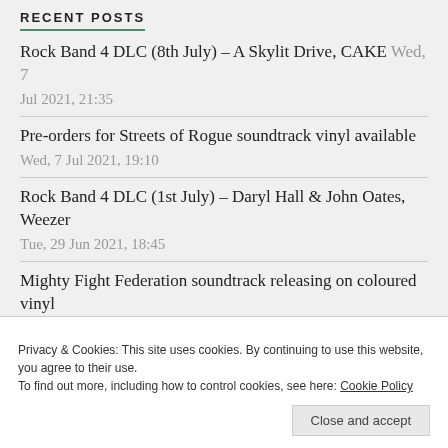RECENT POSTS
Rock Band 4 DLC (8th July) – A Skylit Drive, CAKE Wed, 7 Jul 2021, 21:35
Pre-orders for Streets of Rogue soundtrack vinyl available Wed, 7 Jul 2021, 19:10
Rock Band 4 DLC (1st July) – Daryl Hall & John Oates, Weezer Tue, 29 Jun 2021, 18:45
Mighty Fight Federation soundtrack releasing on coloured vinyl Wed, 23 Jun 2021, 19:55
Privacy & Cookies: This site uses cookies. By continuing to use this website, you agree to their use. To find out more, including how to control cookies, see here: Cookie Policy